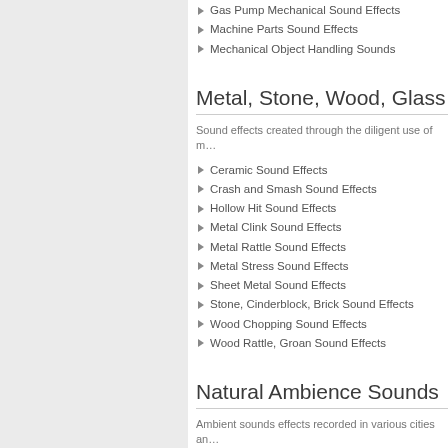Gas Pump Mechanical Sound Effects
Machine Parts Sound Effects
Mechanical Object Handling Sounds
Metal, Stone, Wood, Glass
Sound effects created through the diligent use of m…
Ceramic Sound Effects
Crash and Smash Sound Effects
Hollow Hit Sound Effects
Metal Clink Sound Effects
Metal Rattle Sound Effects
Metal Stress Sound Effects
Sheet Metal Sound Effects
Stone, Cinderblock, Brick Sound Effects
Wood Chopping Sound Effects
Wood Rattle, Groan Sound Effects
Natural Ambience Sounds
Ambient sounds effects recorded in various cities an…